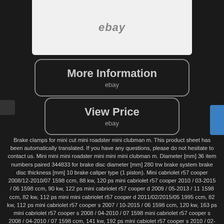[Figure (photo): Product photo of brake clamp parts on light background with eBay watermark]
[Figure (screenshot): More Information button with eBay branding]
[Figure (screenshot): View Price button with eBay branding]
Brake clamps for mini cut mini roadster mini clubman m. This product sheet has been automatically translated. If you have any questions, please do not hesitate to contact us. Mini mini mini roadster mini mini mini clubman m. Diameter [mm] 36 item numbers paired 344833 for brake disc diameter [mm] 280 trw brake system brake disc thickness [mm] 10 brake caliper type (1 piston). Mini cabriolet r57 cooper 2008/12-2010/07 1598 ccm, 88 kw, 120 ps mini cabriolet r57 cooper 2010 / 03-2015 / 06 1598 ccm, 90 kw, 122 ps mini cabriolet r57 cooper d 2009 / 05-2013 / 11 1598 ccm, 82 kw, 112 ps mini mini cabriolet r57 cooper d 2011/02/2015/05 1995 ccm, 82 kw, 112 ps mini cabriolet r57 cooper s 2007 / 10-2015 / 06 1598 ccm, 120 kw, 163 ps mini cabriolet r57 cooper s 2008 / 04-2010 / 07 1598 mini cabriolet r57 cooper s 2008 / 04-2010 / 07 1598 ccm, 141 kw, 192 ps mini cabiolet r57 cooper s 2010 / 02-2015 / 06 1598 mini mini cabriolet r57 cooper s 2010 / 02-2015 kw, 174 ps